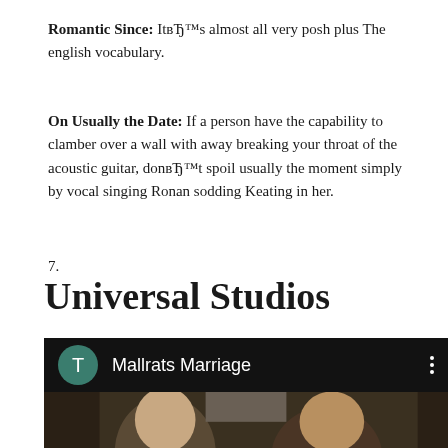Romantic Since: ItвЂ™s almost all very posh plus The english vocabulary.
On Usually the Date: If a person have the capability to clamber over a wall with away breaking your throat of the acoustic guitar, donвЂ™t spoil usually the moment simply by vocal singing Ronan sodding Keating in her.
7.
Universal Studios
[Figure (screenshot): Screenshot of a media app showing 'Mallrats Marriage' with a teal avatar with letter T, three-dot menu, and a movie scene below showing two young men.]